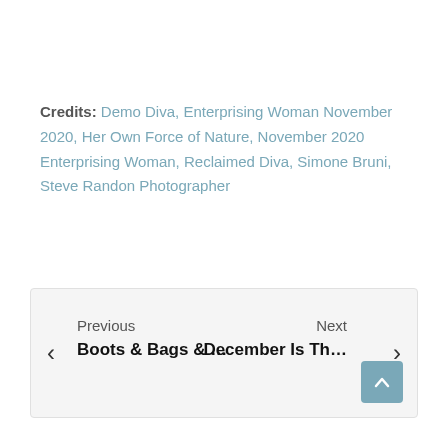Credits: Demo Diva, Enterprising Woman November 2020, Her Own Force of Nature, November 2020 Enterprising Woman, Reclaimed Diva, Simone Bruni, Steve Randon Photographer
Previous | Boots & Bags & … | Next | December Is Th…